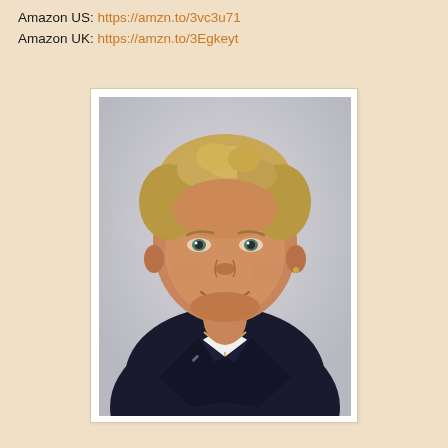Amazon US: https://amzn.to/3vc3u71
Amazon UK: https://amzn.to/3Egkeyt
[Figure (photo): Professional headshot of a smiling middle-aged woman with short curly blonde hair, wearing a dark navy blazer over a white top and a gold chain necklace, against a light grey background.]